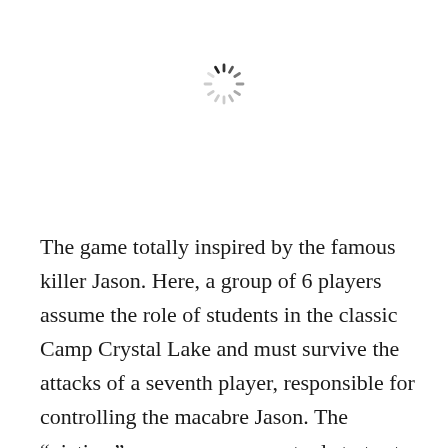[Figure (other): Loading spinner icon — a circular arrangement of short radial lines (like a clock) in shades of gray, indicating a loading state.]
The game totally inspired by the famous killer Jason. Here, a group of 6 players assume the role of students in the classic Camp Crystal Lake and must survive the attacks of a seventh player, responsible for controlling the macabre Jason. The “victims” can use numerous tools to try to survive or even defeat the villain. Likewise, Jason can use